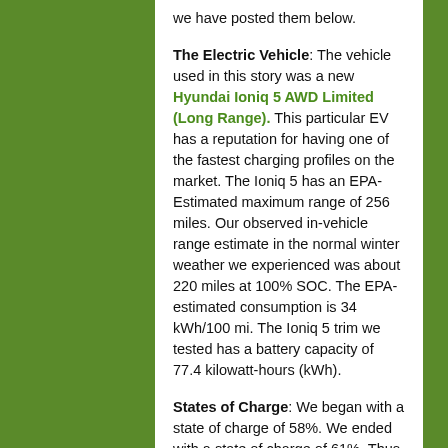we have posted them below.
The Electric Vehicle: The vehicle used in this story was a new Hyundai Ioniq 5 AWD Limited (Long Range). This particular EV has a reputation for having one of the fastest charging profiles on the market. The Ioniq 5 has an EPA-Estimated maximum range of 256 miles. Our observed in-vehicle range estimate in the normal winter weather we experienced was about 220 miles at 100% SOC. The EPA-estimated consumption is 34 kWh/100 mi. The Ioniq 5 trim we tested has a battery capacity of 77.4 kilowatt-hours (kWh).
States of Charge: We began with a state of charge of 58%. We ended with a state of charge of 61%. Thus, about 3% state of charge was added to the vehicle during our 25-minute charging event. Based on the vehicle's estimated range in these temps of 220 miles, we calculate we added about 7 miles of range